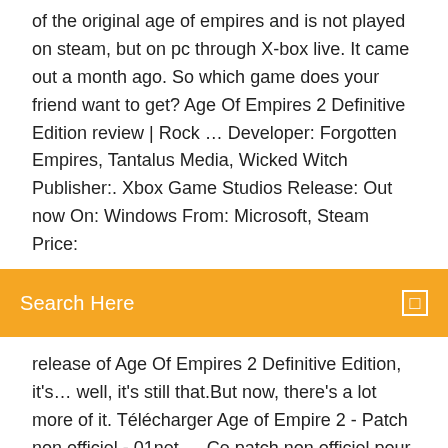of the original age of empires and is not played on steam, but on pc through X-box live. It came out a month ago. So which game does your friend want to get? Age Of Empires 2 Definitive Edition review | Rock … Developer: Forgotten Empires, Tantalus Media, Wicked Witch Publisher:. Xbox Game Studios Release: Out now On: Windows From: Microsoft, Steam Price:
Search Here
release of Age Of Empires 2 Definitive Edition, it's… well, it's still that.But now, there's a lot more of it. Télécharger Age of Empire 2 - Patch non officiel - 01net … Ce patch non officiel pour Age of Empire 2 donne un coup de jeune au jeu de stratégie culte de Microsoft.En effet, vous pouvez, dès à présent, afficher toutes les ré Age of Empires II: HD Edition Crack | Cracked Games
Age of Empires II HD : tous les codes et astuces - Gamekult Retrouvez tous les codes et astuces du jeu Age of Empires II HD pour PC. Vous êtes bloqué ou vous avez pour mission de